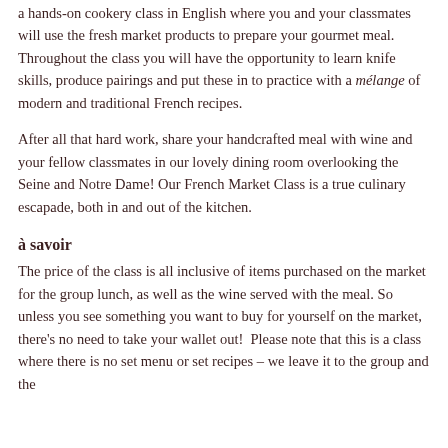a hands-on cookery class in English where you and your classmates will use the fresh market products to prepare your gourmet meal. Throughout the class you will have the opportunity to learn knife skills, produce pairings and put these in to practice with a mélange of modern and traditional French recipes.
After all that hard work, share your handcrafted meal with wine and your fellow classmates in our lovely dining room overlooking the Seine and Notre Dame! Our French Market Class is a true culinary escapade, both in and out of the kitchen.
à savoir
The price of the class is all inclusive of items purchased on the market for the group lunch, as well as the wine served with the meal. So unless you see something you want to buy for yourself on the market, there's no need to take your wallet out!  Please note that this is a class where there is no set menu or set recipes – we leave it to the group and the